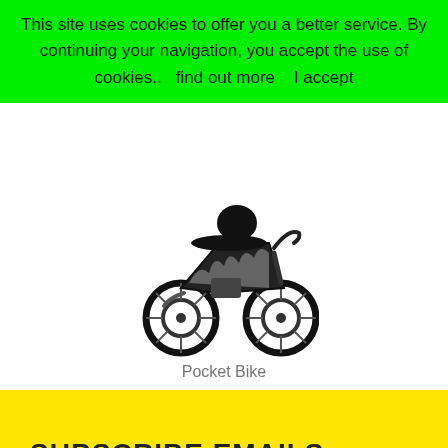This site uses cookies to offer you a better service. By continuing your navigation, you accept the use of cookies..   find out more    I accept
[Figure (illustration): Black and white illustration of a pocket bike (small motorcycle) facing left, with flame graphic on the body.]
Pocket Bike
SUBSCRIBE EMAILS
Email Here...
subscribe